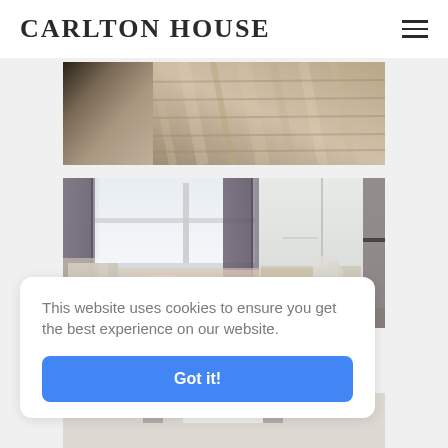CARLTON HOUSE
[Figure (photo): Close-up photo of textured fabric or bedding in beige/grey tones, partially cropped at top]
[Figure (photo): Bedroom interior photo showing window with dark curtains, white wardrobe, bed with floral bedding, and desk area]
This website uses cookies to ensure you get the best experience on our website.
Got it!
[Figure (photo): Partial bottom photo of another room interior, mostly cropped]